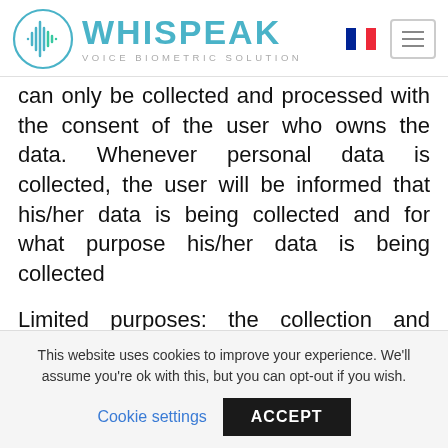WHISPEAK VOICE BIOMETRIC SOLUTION
can only be collected and processed with the consent of the user who owns the data. Whenever personal data is collected, the user will be informed that his/her data is being collected and for what purpose his/her data is being collected
Limited purposes: the collection and processing of data is carried out to meet one or more of
This website uses cookies to improve your experience. We'll assume you're ok with this, but you can opt-out if you wish.
Cookie settings  ACCEPT